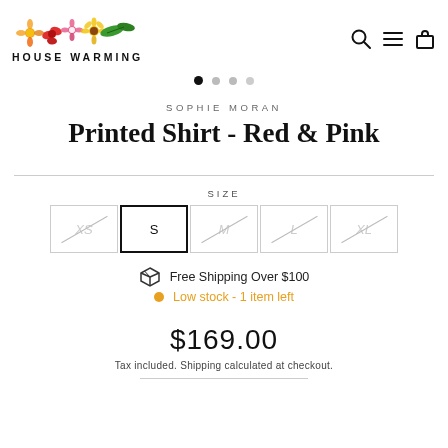[Figure (logo): House Warming logo with colorful tropical flowers above text reading HOUSE WARMING]
[Figure (infographic): Navigation icons: search magnifying glass, hamburger menu, shopping bag]
[Figure (infographic): Four pagination dots, first dot filled black (active), remaining three are light grey]
SOPHIE MORAN
Printed Shirt - Red & Pink
SIZE
XS  S  M  L  XL (size selector buttons, S selected)
Free Shipping Over $100
Low stock - 1 item left
$169.00
Tax included. Shipping calculated at checkout.